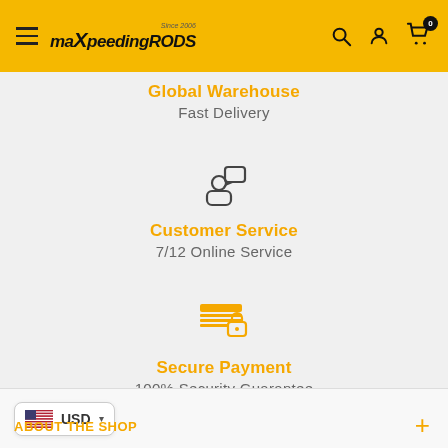maXpeedingrods — navigation header with hamburger menu, logo, search, account, cart (0)
Global Warehouse
Fast Delivery
[Figure (illustration): Customer service icon: person silhouette with a speech bubble]
Customer Service
7/12 Online Service
[Figure (illustration): Secure payment icon: credit card with a padlock]
Secure Payment
100% Security Guarantee
USD ▾   ABOUT THE SHOP  +